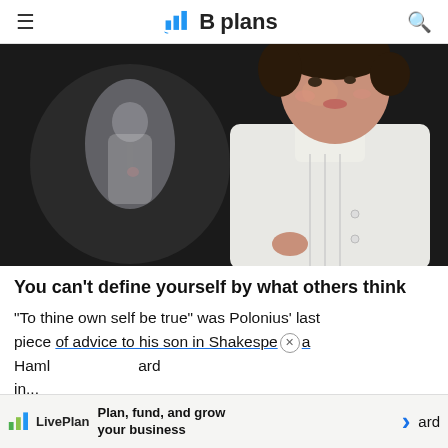Bplans
[Figure (photo): A theatrical performance photo showing a young man in a white period costume (high-collared white shirt) in the foreground, with a blurred reflection or second figure in the background against a dark stage.]
You can’t define yourself by what others think
“To thine own self be true” was Polonius’ last piece of advice to his son in Shakespeare’s Hamlet. Polonius was a blowhard
Plan, fund, and grow your business